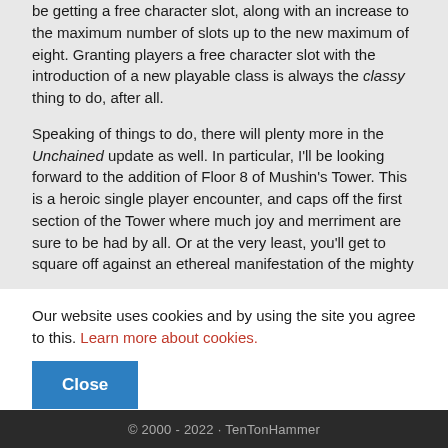be getting a free character slot, along with an increase to the maximum number of slots up to the new maximum of eight. Granting players a free character slot with the introduction of a new playable class is always the classy thing to do, after all.
Speaking of things to do, there will plenty more in the Unchained update as well. In particular, I'll be looking forward to the addition of Floor 8 of Mushin's Tower. This is a heroic single player encounter, and caps off the first section of the Tower where much joy and merriment are sure to be had by all. Or at the very least, you'll get to square off against an ethereal manifestation of the mighty
Our website uses cookies and by using the site you agree to this. Learn more about cookies.
Close
© 2000 - 2022 · TenTonHammer